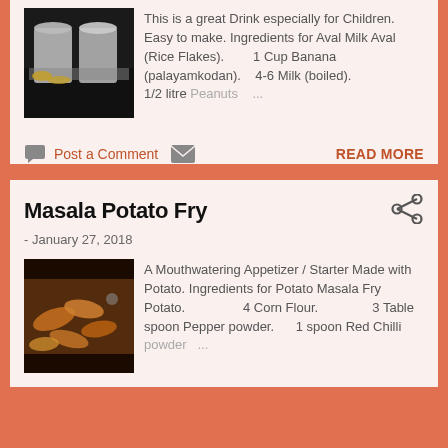[Figure (photo): Food photo showing drinks/milk with bananas and rice flakes]
This is a great Drink especially for Children. Easy to make. Ingredients for Aval Milk Aval (Rice Flakes). 1 Cup Banana (palayamkodan). 4-6 Milk (boiled). 1/2 litre Peanuts ...
Post a Comment
READ MORE
Masala Potato Fry
- January 27, 2018
[Figure (photo): Food photo showing masala potato fry dish]
A Mouthwatering Appetizer / Starter Made with Potato. Ingredients for Potato Masala Fry Potato. 4 Corn Flour. 3 Table spoon Pepper powder. 1 spoon Red Chilli powder ...